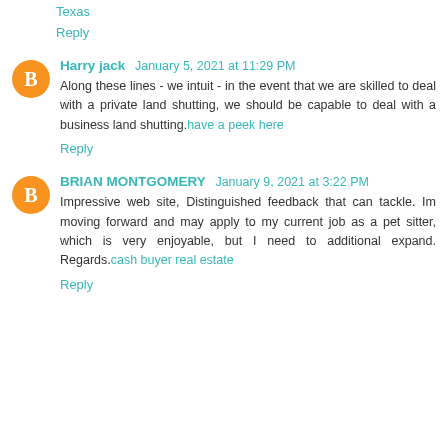Texas
Reply
Harry jack  January 5, 2021 at 11:29 PM
Along these lines - we intuit - in the event that we are skilled to deal with a private land shutting, we should be capable to deal with a business land shutting. have a peek here
Reply
BRIAN MONTGOMERY  January 9, 2021 at 3:22 PM
Impressive web site, Distinguished feedback that can tackle. Im moving forward and may apply to my current job as a pet sitter, which is very enjoyable, but I need to additional expand. Regards. cash buyer real estate
Reply